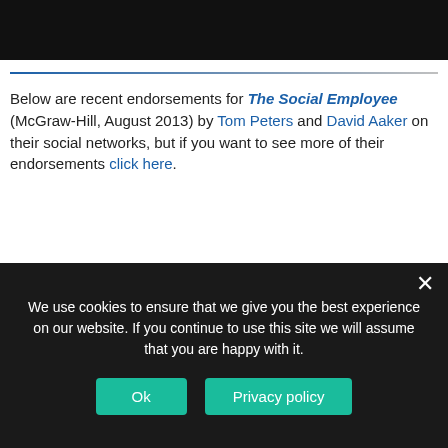[Figure (screenshot): Partial top image, dark background with person]
Below are recent endorsements for The Social Employee (McGraw-Hill, August 2013) by Tom Peters and David Aaker on their social networks, but if you want to see more of their endorsements click here.
[Figure (screenshot): Tweet by Tom Peters @tom_peters dated 12 Nov: Cheating/2 tweets/my social biz favorite books #1: The Social Employee, Social Business Excellence, The Social Organization.]
[Figure (screenshot): Second tweet by Tom Peters with replies/mentions and text about staying up late mining yr book for PowerPoint slides]
We use cookies to ensure that we give you the best experience on our website. If you continue to use this site we will assume that you are happy with it.